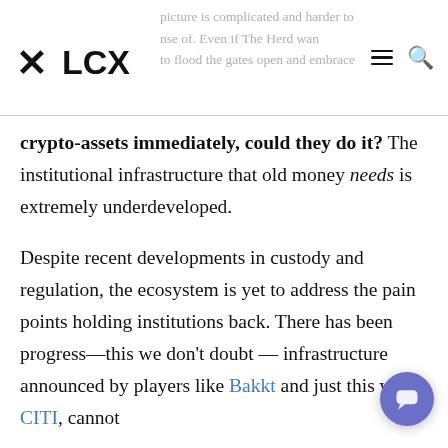LCX — picture is complicated and harder to sense of. Even if The Herd wants to flood the gates open and embrace
crypto-assets immediately, could they do it? The institutional infrastructure that old money needs is extremely underdeveloped.
Despite recent developments in custody and regulation, the ecosystem is yet to address the pain points holding institutions back. There has been progress—this we don't doubt — infrastructure announced by players like Bakkt and just this week, CITI, cannot